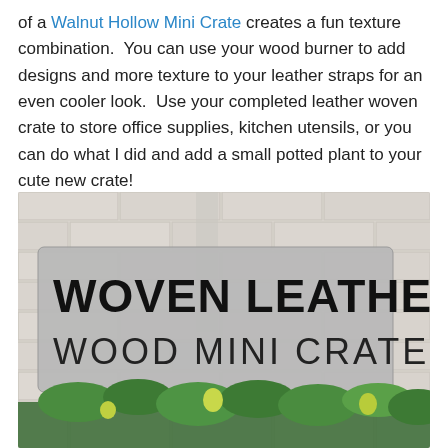of a Walnut Hollow Mini Crate creates a fun texture combination. You can use your wood burner to add designs and more texture to your leather straps for an even cooler look. Use your completed leather woven crate to store office supplies, kitchen utensils, or you can do what I did and add a small potted plant to your cute new crate!
[Figure (photo): Photo of a sign leaning against a white brick wall reading 'WOVEN LEATHER WOOD MINI CRATE' in bold and regular black text on a gray background, with green plants visible at the bottom.]